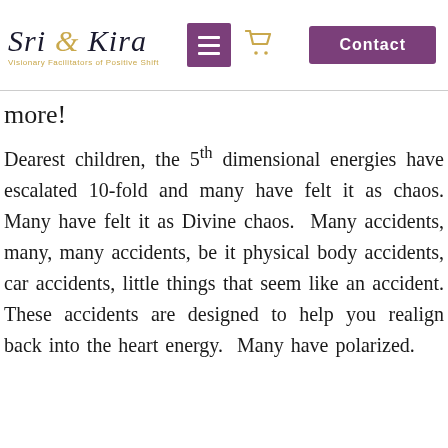Sri & Kira — Visionary Facilitators of Positive Shift
more!
Dearest children, the 5th dimensional energies have escalated 10-fold and many have felt it as chaos. Many have felt it as Divine chaos. Many accidents, many, many accidents, be it physical body accidents, car accidents, little things that seem like an accident. These accidents are designed to help you realign back into the heart energy. Many have polarized.